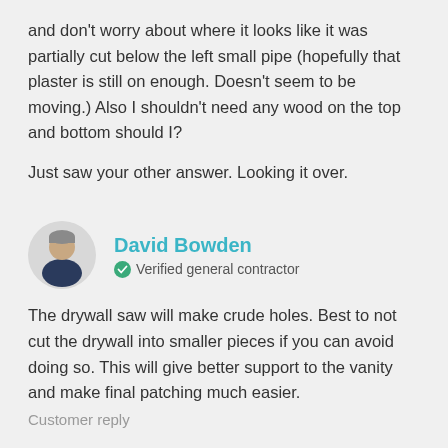and don't worry about where it looks like it was partially cut below the left small pipe (hopefully that plaster is still on enough. Doesn't seem to be moving.) Also I shouldn't need any wood on the top and bottom should I?

Just saw your other answer. Looking it over.
David Bowden
Verified general contractor
The drywall saw will make crude holes. Best to not cut the drywall into smaller pieces if you can avoid doing so. This will give better support to the vanity and make final patching much easier.
Customer reply